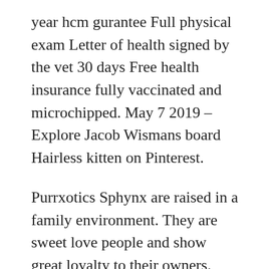year hcm gurantee Full physical exam Letter of health signed by the vet 30 days Free health insurance fully vaccinated and microchipped. May 7 2019 – Explore Jacob Wismans board Hairless kitten on Pinterest.
Purrxotics Sphynx are raised in a family environment. They are sweet love people and show great loyalty to their owners. Hairless Sphynx kittens for sale.
See more ideas about hairless cat cute hairless cat sphynx cat. Abyssinian kittens for sale mn. Thanks For Visiting sphynx for sale near me It